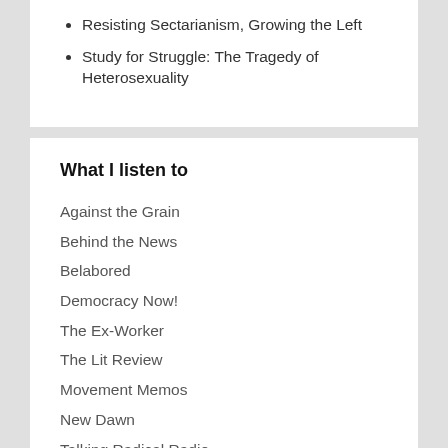Resisting Sectarianism, Growing the Left
Study for Struggle: The Tragedy of Heterosexuality
What I listen to
Against the Grain
Behind the News
Belabored
Democracy Now!
The Ex-Worker
The Lit Review
Movement Memos
New Dawn
Talking Radical Radio
Treyf
Who Makes Cents?